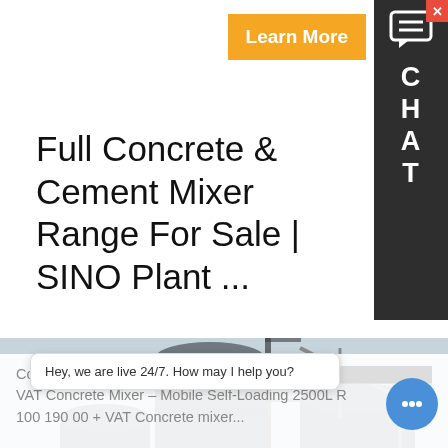[Figure (screenshot): Orange 'Learn More' button in top right area]
[Figure (screenshot): Dark gray chat sidebar on right edge with close button (red X), chat bubble icon, and letters C H A T stacked vertically]
Full Concrete & Cement Mixer Range For Sale | SINO Plant ...
[Figure (photo): Photograph of large industrial cement/concrete silos under construction, showing three tall cylindrical gray silos with a crane in the background]
Concrete Mixer ... e VAT Concrete Mixer – Mobile Self-Loading 2500L R ... 100 190 00 + VAT Concrete mixer...
[Figure (screenshot): Live chat tooltip saying 'Hey, we are live 24/7. How may I help you?' with a blue circular chat bubble button showing three dots]